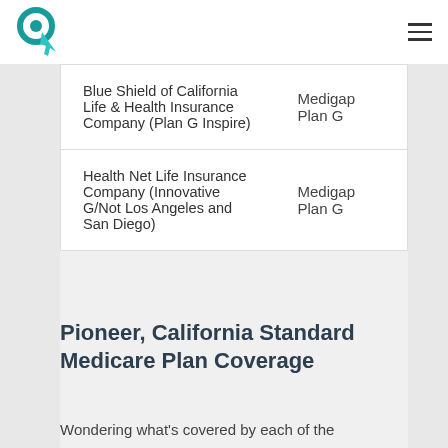Logo and navigation menu
| Company | Plan Type |
| --- | --- |
| Blue Shield of California Life & Health Insurance Company (Plan G Inspire) | Medigap Plan G |
| Health Net Life Insurance Company (Innovative G/Not Los Angeles and San Diego) | Medigap Plan G |
Pioneer, California Standard Medicare Plan Coverage
Wondering what's covered by each of the